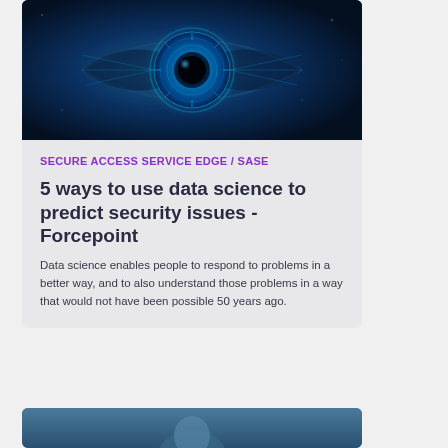[Figure (photo): Close-up digital eye with blue glowing circuit/technology overlay on dark background]
SECURE ACCESS SERVICE EDGE / SASE
5 ways to use data science to predict security issues - Forcepoint
Data science enables people to respond to problems in a better way, and to also understand those problems in a way that would not have been possible 50 years ago.
[Figure (photo): Partial view of a person's face/portrait at bottom of page]